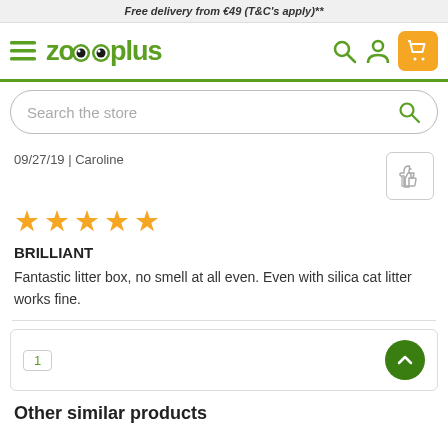Free delivery from €49 (T&C's apply)**
[Figure (logo): Zooplus logo with navigation icons including hamburger menu, search, profile, and shopping cart]
[Figure (screenshot): Search the store input box with magnifying glass icon]
09/27/19 | Caroline
[Figure (infographic): 5 orange star rating icons]
BRILLIANT
Fantastic litter box, no smell at all even. Even with silica cat litter works fine.
1
Other similar products